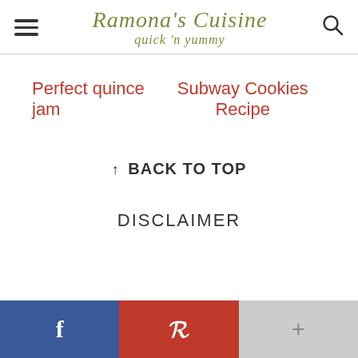Ramona's Cuisine — quick 'n yummy
Perfect quince jam
Subway Cookies Recipe
↑ BACK TO TOP
DISCLAIMER